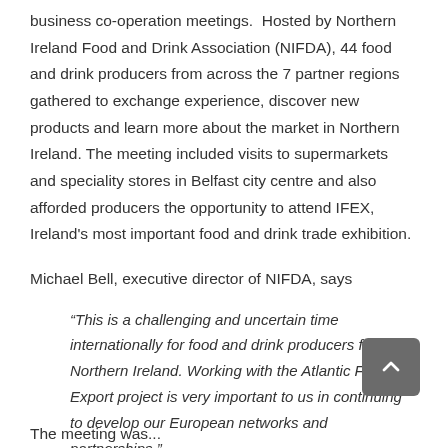business co-operation meetings. Hosted by Northern Ireland Food and Drink Association (NIFDA), 44 food and drink producers from across the 7 partner regions gathered to exchange experience, discover new products and learn more about the market in Northern Ireland. The meeting included visits to supermarkets and speciality stores in Belfast city centre and also afforded producers the opportunity to attend IFEX, Ireland's most important food and drink trade exhibition.
Michael Bell, executive director of NIFDA, says
“This is a challenging and uncertain time internationally for food and drink producers from Northern Ireland. Working with the Atlantic Food Export project is very important to us in continuing to develop our European networks and partnerships.”
The meeting was...